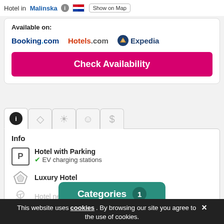Hotel in Malinska  Show on Map
Available on:
Booking.com   Hotels.com   Expedia
Check Availability
Info
Hotel with Parking
✔ EV charging stations
Luxury Hotel
Hotel near The Beach
Show more ▾
Categories 1
This website uses cookies. By browsing our site you agree to the use of cookies.